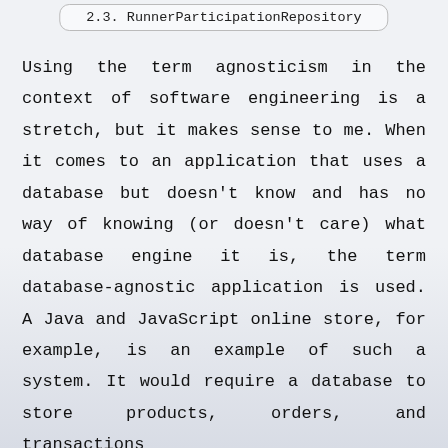2.3. RunnerParticipationRepository
Using the term agnosticism in the context of software engineering is a stretch, but it makes sense to me. When it comes to an application that uses a database but doesn't know and has no way of knowing (or doesn't care) what database engine it is, the term database-agnostic application is used. A Java and JavaScript online store, for example, is an example of such a system. It would require a database to store products, orders, and transactions